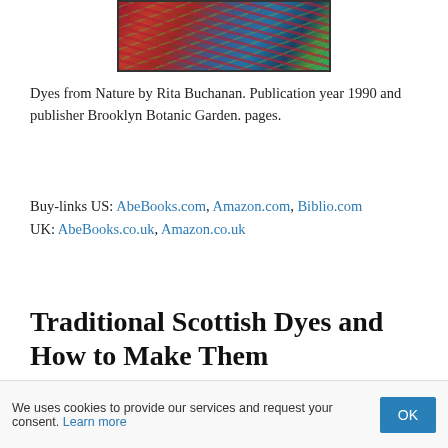[Figure (photo): Partial view of a book cover showing colorful textile/fiber art with red, blue, and green tones]
Dyes from Nature by Rita Buchanan. Publication year 1990 and publisher Brooklyn Botanic Garden. pages.
Buy-links US: AbeBooks.com, Amazon.com, Biblio.com
UK: AbeBooks.co.uk, Amazon.co.uk
Traditional Scottish Dyes and How to Make Them
We uses cookies to provide our services and request your consent. Learn more